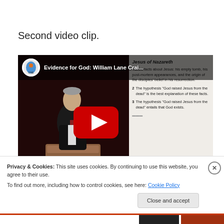Second video clip.
[Figure (screenshot): Embedded YouTube video thumbnail showing William Lane Craig speaking at NC State, with a slide visible on the right showing arguments about Jesus of Nazareth. A red YouTube play button is overlaid in the center.]
Privacy & Cookies: This site uses cookies. By continuing to use this website, you agree to their use.
To find out more, including how to control cookies, see here: Cookie Policy
Close and accept